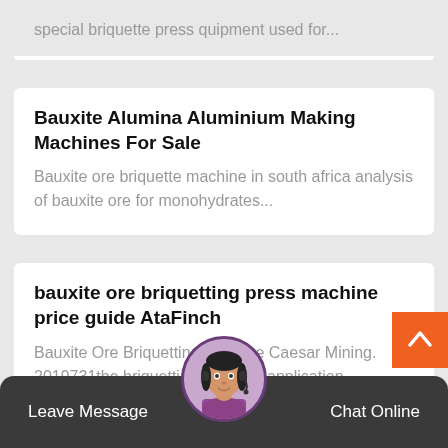special briquette press quipment used for...
Bauxite Alumina Aluminium Making Machines For Sale
Bauxite ore briquette machine in south africa analysis of bauxite ore for monohydrates...
bauxite ore briquetting press machine price guide AtaFinch
Bauxite Ore Briquetting Machine Caesar Mining. 2019731the briquetting machine application...
Leave Message   Chat Online